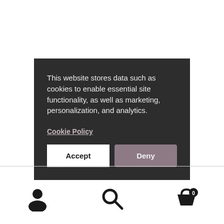[Figure (screenshot): Cookie consent modal dialog with dark background (#2d2d2d). Contains text about cookies, a Cookie Policy link, and two buttons: Accept (white) and Deny (mauve/gray).]
This website stores data such as cookies to enable essential site functionality, as well as marketing, personalization, and analytics.
Cookie Policy
Accept
Deny
[Figure (infographic): Bottom navigation bar with three icons: user/person icon (left), search magnifying glass icon (center), shopping basket/cart icon with badge showing 0 (right).]